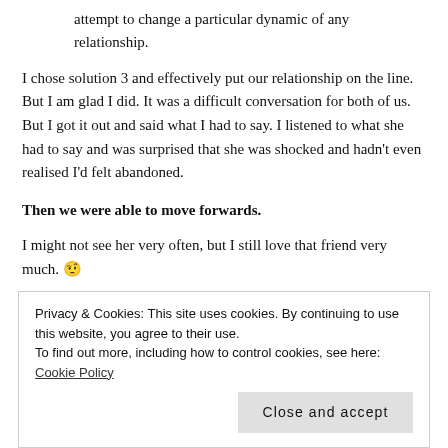attempt to change a particular dynamic of any relationship.
I chose solution 3 and effectively put our relationship on the line. But I am glad I did. It was a difficult conversation for both of us. But I got it out and said what I had to say. I listened to what she had to say and was surprised that she was shocked and hadn't even realised I'd felt abandoned.
Then we were able to move forwards.
I might not see her very often, but I still love that friend very much. 🤨
Stages of (some) friendship(s) I went through when I had mental health issues
Shame – I don't want to 'bother' my friends with my problems (again)
Privacy & Cookies: This site uses cookies. By continuing to use this website, you agree to their use.
To find out more, including how to control cookies, see here: Cookie Policy